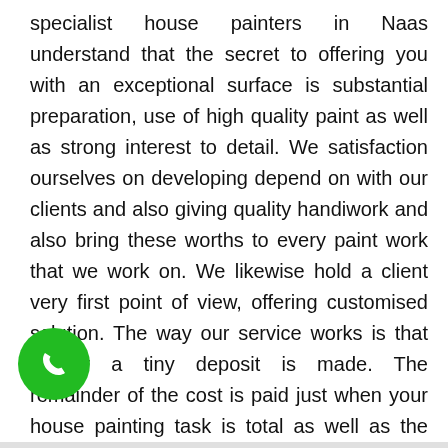specialist house painters in Naas understand that the secret to offering you with an exceptional surface is substantial preparation, use of high quality paint as well as strong interest to detail. We satisfaction ourselves on developing depend on with our clients and also giving quality handiwork and also bring these worths to every paint work that we work on. We likewise hold a client very first point of view, offering customised solution. The way our service works is that initially a tiny deposit is made. The remainder of the cost is paid just when your house painting task is total as well as the client is completely happy with the result. Confirming the success and also solid partnerships constructed via our solutions, our finished paintwork tasks have led to over 80% of our NEW painting consumers coming straight from customer referrals after being so delighted with the completed item and also total experience of dealing with us.
[Figure (other): Green circular phone/call button icon in bottom-left area]